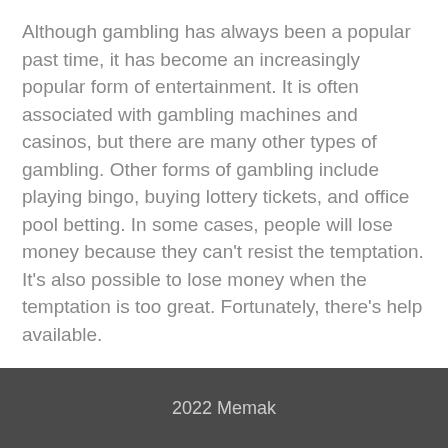Although gambling has always been a popular past time, it has become an increasingly popular form of entertainment. It is often associated with gambling machines and casinos, but there are many other types of gambling. Other forms of gambling include playing bingo, buying lottery tickets, and office pool betting. In some cases, people will lose money because they can't resist the temptation. It's also possible to lose money when the temptation is too great. Fortunately, there's help available.
UNCATEGORIZED
2022 Memak